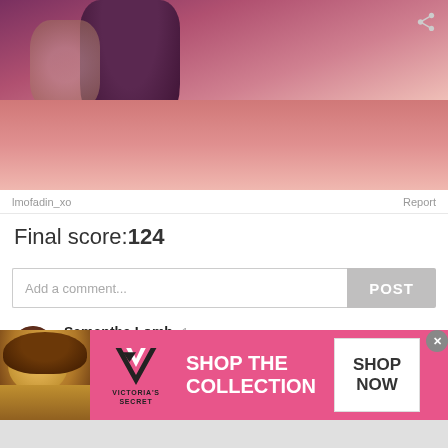[Figure (photo): Close-up photo showing a hand with dark purple nail polish holding something, with a reddish-pink blurred background]
lmofadin_xo
Report
Final score:124
Add a comment...
POST
Samantha Lomb  1 year ago
So the kid killed the lizard and then played with it's corpse? Kids are so cruel
75  Reply
[Figure (photo): Victoria's Secret advertisement banner with a model, VS logo, and 'SHOP THE COLLECTION' text with a SHOP NOW button]